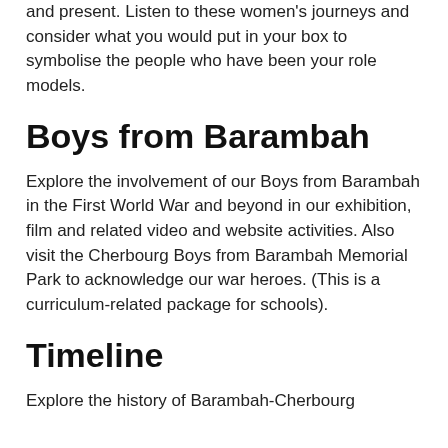and present. Listen to these women's journeys and consider what you would put in your box to symbolise the people who have been your role models.
Boys from Barambah
Explore the involvement of our Boys from Barambah in the First World War and beyond in our exhibition, film and related video and website activities. Also visit the Cherbourg Boys from Barambah Memorial Park to acknowledge our war heroes. (This is a curriculum-related package for schools).
Timeline
Explore the history of Barambah-Cherbourg